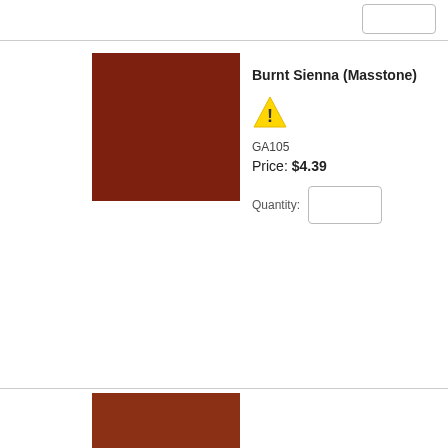[Figure (other): Partial product row at top showing quantity input box]
[Figure (other): Color swatch of Burnt Sienna (Masstone) - a dark reddish-brown square]
Burnt Sienna (Masstone)
[Figure (other): Warning triangle icon (yellow with exclamation mark)]
GA105
Price: $4.39
Quantity:
[Figure (other): Partial color swatch at bottom of page - dark reddish-brown color sample cropped]